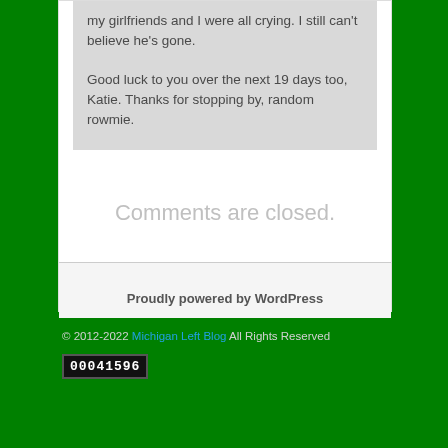my girlfriends and I were all crying. I still can't believe he's gone.
Good luck to you over the next 19 days too, Katie. Thanks for stopping by, random rowmie.
Comments are closed.
Proudly powered by WordPress
© 2012-2022 Michigan Left Blog All Rights Reserved
00041596